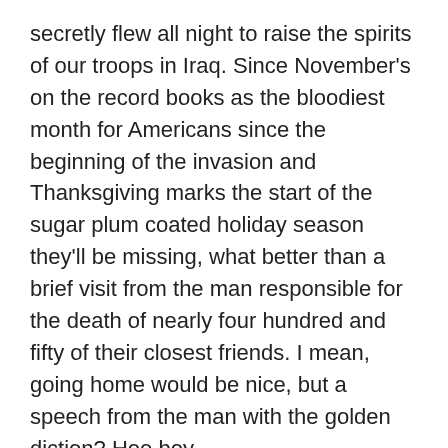secretly flew all night to raise the spirits of our troops in Iraq. Since November's on the record books as the bloodiest month for Americans since the beginning of the invasion and Thanksgiving marks the start of the sugar plum coated holiday season they'll be missing, what better than a brief visit from the man responsible for the death of nearly four hundred and fifty of their closest friends. I mean, going home would be nice, but a speech from the man with the golden diction? Hoo boy.
Transcripts of his speech are particularly powerful. He thanks all the appropriate coalition leaders, speaks solemnly about brave men lost, and reassures the people of Iraq that we are